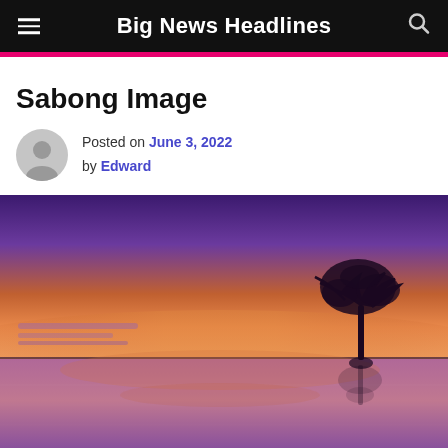Big News Headlines
Sabong Image
Posted on June 3, 2022 by Edward
[Figure (photo): Landscape photo of a lone tree silhouetted against a purple and orange sunset sky, reflected in calm still water below the horizon line.]